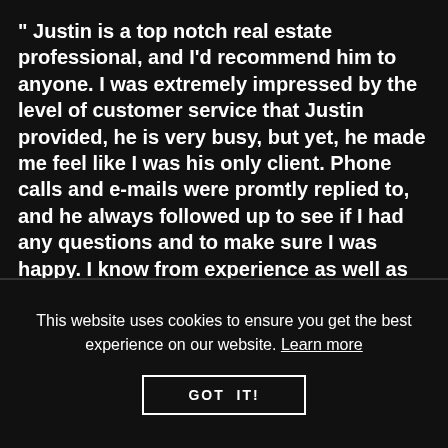" Justin is a top notch real estate professional, and I'd recommend him to anyone. I was extremely impressed by the level of customer service that Justin provided, he is very busy, but yet, he made me feel like I was his only client. Phone calls and e-mails were promtly replied to, and he always followed up to see if I had any questions and to make sure I was happy. I know from experience as well as speaking with our piers that Justin's reputation is flawless - it was his professionalism
This website uses cookies to ensure you get the best experience on our website. Learn more
GOT IT!